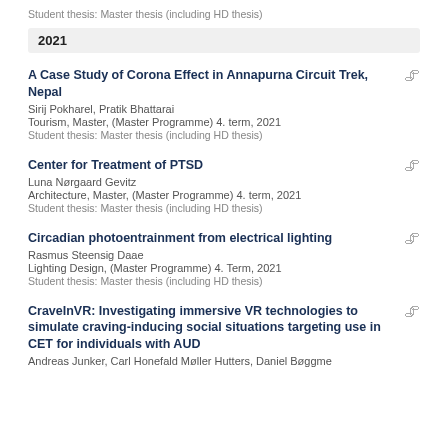Student thesis: Master thesis (including HD thesis)
2021
A Case Study of Corona Effect in Annapurna Circuit Trek, Nepal
Sirij Pokharel, Pratik Bhattarai
Tourism, Master, (Master Programme) 4. term, 2021
Student thesis: Master thesis (including HD thesis)
Center for Treatment of PTSD
Luna Nørgaard Gevitz
Architecture, Master, (Master Programme) 4. term, 2021
Student thesis: Master thesis (including HD thesis)
Circadian photoentrainment from electrical lighting
Rasmus Steensig Daae
Lighting Design, (Master Programme) 4. Term, 2021
Student thesis: Master thesis (including HD thesis)
CraveInVR: Investigating immersive VR technologies to simulate craving-inducing social situations targeting use in CET for individuals with AUD
Andreas Junker, Carl Honefald Møller Hutters, Daniel Bøggme